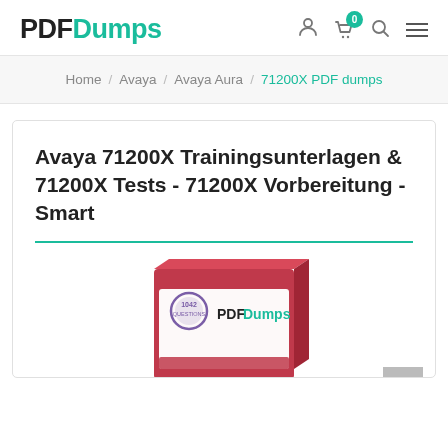[Figure (logo): PDFDumps logo with PDF in black bold and Dumps in teal/green bold]
Navigation icons: user, cart (0), search, menu
Home / Avaya / Avaya Aura / 71200X PDF dumps
Avaya 71200X Trainingsunterlagen & 71200X Tests - 71200X Vorbereitung - Smart
[Figure (photo): Product box image showing PDFDumps branded exam preparation material with a purple seal on red/pink box]